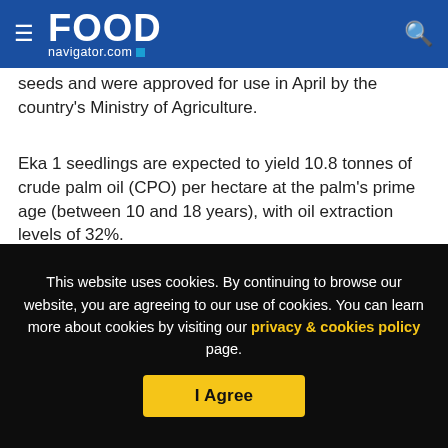FOOD navigator.com
Seeds and were approved for use in April by the country's Ministry of Agriculture.
Eka 1 seedlings are expected to yield 10.8 tonnes of crude palm oil (CPO) per hectare at the palm's prime age (between 10 and 18 years), with oil extraction levels of 32%.
[Figure (logo): NZMP logo advertisement banner]
This website uses cookies. By continuing to browse our website, you are agreeing to our use of cookies. You can learn more about cookies by visiting our privacy & cookies policy page.